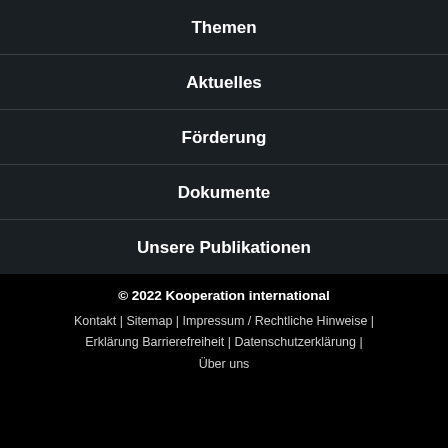Themen
Aktuelles
Förderung
Dokumente
Unsere Publikationen
© 2022 Kooperation international
Kontakt | Sitemap | Impressum / Rechtliche Hinweise | Erklärung Barrierefreiheit | Datenschutzerklärung | Über uns